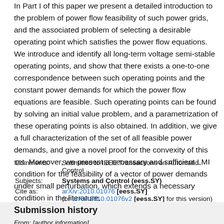In Part I of this paper we present a detailed introduction to the problem of power flow feasibility of such power grids, and the associated problem of selecting a desirable operating point which satisfies the power flow equations. We introduce and identify all long-term voltage semi-stable operating points, and show that there exists a one-to-one correspondence between such operating points and the constant power demands for which the power flow equations are feasible. Such operating points can be found by solving an initial value problem, and a parametrization of these operating points is also obtained. In addition, we give a full characterization of the set of all feasible power demands, and give a novel proof for the convexity of this set. Moreover, we present a necessary and sufficient LMI condition for the feasibility of a vector of power demands under small perturbation, which extends a necessary condition in the literature.
| Comments: | Submitted to IEEE Transactions on Automatic Control |
| Subjects: | Systems and Control (eess.SY) |
| Cite as: | arXiv:2010.01076 [eess.SY]
(or arXiv:2010.01076v2 [eess.SY] for this version)
https://doi.org/10.48550/arXiv.2010.01076 |
Submission history
From: [author information]